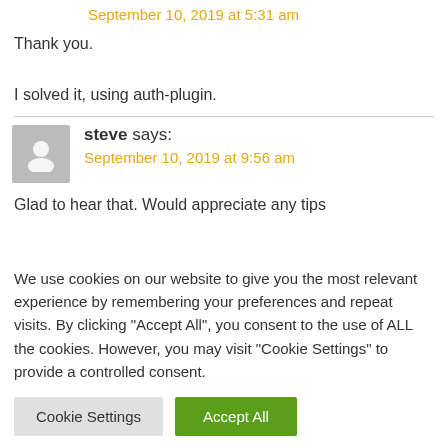September 10, 2019 at 5:31 am
Thank you.
I solved it, using auth-plugin.
steve says:
September 10, 2019 at 9:56 am
Glad to hear that. Would appreciate any tips
We use cookies on our website to give you the most relevant experience by remembering your preferences and repeat visits. By clicking “Accept All”, you consent to the use of ALL the cookies. However, you may visit "Cookie Settings" to provide a controlled consent.